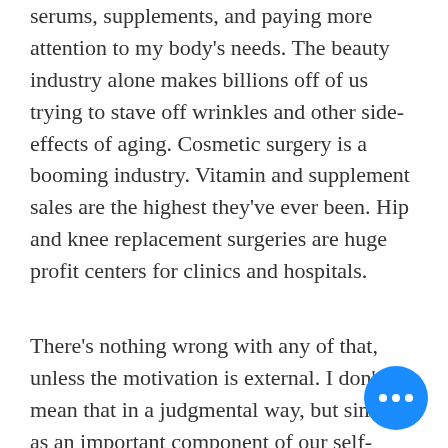serums, supplements, and paying more attention to my body's needs. The beauty industry alone makes billions off of us trying to stave off wrinkles and other side-effects of aging. Cosmetic surgery is a booming industry. Vitamin and supplement sales are the highest they've ever been. Hip and knee replacement surgeries are huge profit centers for clinics and hospitals.
There's nothing wrong with any of that, unless the motivation is external. I don't mean that in a judgmental way, but simply as an important component of our self-esteem. If we don't feel good about ourselves, we can't find joy in life. So if you look in the mirror and you your reflection is a mismatch to how you